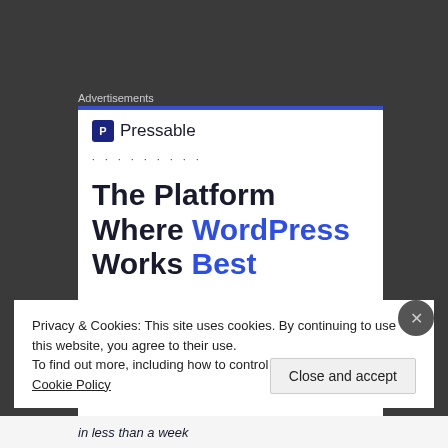Advertisements
[Figure (screenshot): Pressable advertisement card with logo and headline 'The Platform Where WordPress Works Best']
Privacy & Cookies: This site uses cookies. By continuing to use this website, you agree to their use.
To find out more, including how to control cookies, see here: Cookie Policy
Close and accept
in less than a week